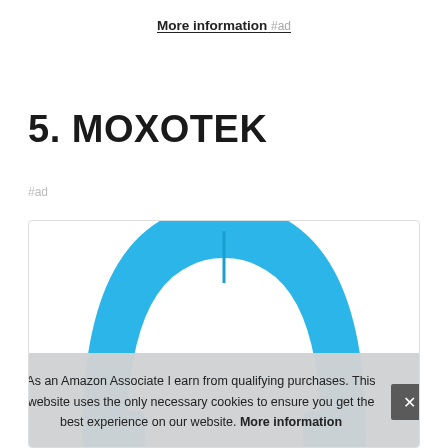More information #ad
5. MOXOTEK
#ad
[Figure (photo): Product image of a blue tablet case with a handle (MOXOTEK), partially visible with a cookie consent overlay on top.]
As an Amazon Associate I earn from qualifying purchases. This website uses the only necessary cookies to ensure you get the best experience on our website. More information